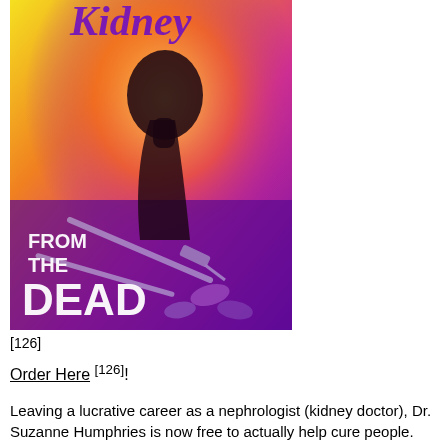[Figure (photo): Book cover for 'Kidney: From the Dead' — a colorful poster-style image showing a silhouette of a person against a yellow-orange-purple gradient background with syringes and pills. Purple script title text at top partially visible, white text 'FROM THE DEAD' at bottom left.]
[126]
Order Here [126]!
Leaving a lucrative career as a nephrologist (kidney doctor), Dr. Suzanne Humphries is now free to actually help cure people.